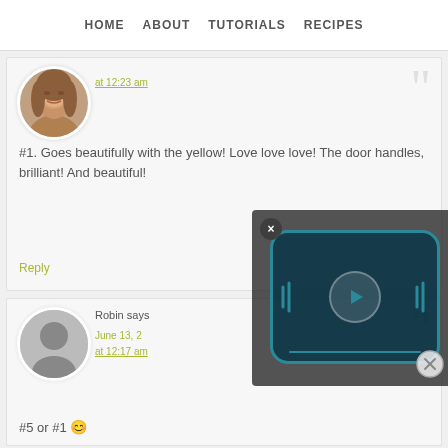HOME   ABOUT   TUTORIALS   RECIPES
at 12:23 am
#1. Goes beautifully with the yellow! Love love love! The door handles, brilliant! And beautiful!
Reply
Robin says
June 13, 2...
at 12:17 am
#5 or #1 😊
[Figure (screenshot): Video player overlay with play button, close button, and scrubber controls on dark background]